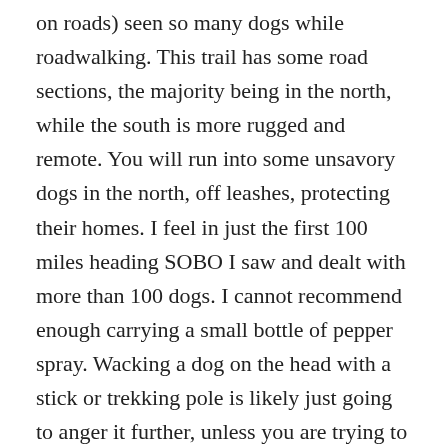on roads) seen so many dogs while roadwalking. This trail has some road sections, the majority being in the north, while the south is more rugged and remote. You will run into some unsavory dogs in the north, off leashes, protecting their homes. I feel in just the first 100 miles heading SOBO I saw and dealt with more than 100 dogs. I cannot recommend enough carrying a small bottle of pepper spray. Wacking a dog on the head with a stick or trekking pole is likely just going to anger it further, unless you are trying to kill it. This is all much harder to actually do in person when the dog may just be coming up to you barking like every other dog, and by the time you realize you need to do something it's right up on you too close to even hit accurately. There is one long roadwalk in particular where all of your troubles will come from, maybe in a few years the trail will be routed off of it, and into the woods but for now it's just